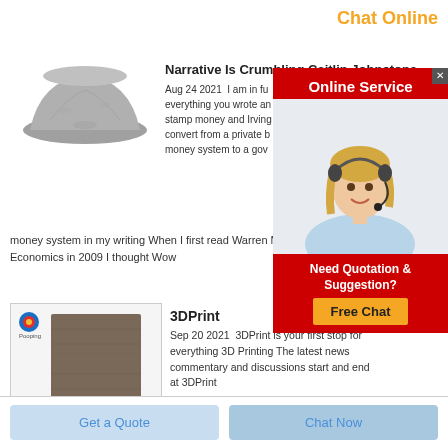Chat Online
Narrative Is Crumbling Caitlin Johnstone
Aug 24 2021  I am in fu everything you wrote an stamp money and Irving convert from a private b money system to a gov money system in my writing When I first read Warren M Economics in 2009 I thought Wow
[Figure (photo): Pile of gray metallic powder]
[Figure (illustration): Online Service ad with woman customer service agent wearing headset]
3DPrint
Sep 20 2021  3DPrint is your first stop for everything 3D Printing The latest news commentary and discussions start and end at 3DPrint
[Figure (photo): 3DPrint article thumbnail with logo and gray material swatch]
Get a Quote
Chat Now